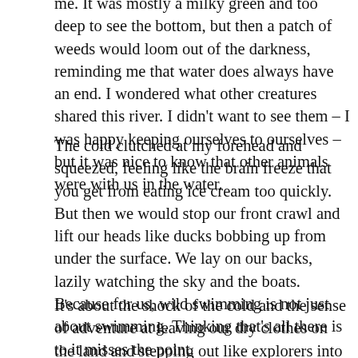me. It was mostly a milky green and too deep to see the bottom, but then a patch of weeds would loom out of the darkness, reminding me that water does always have an end. I wondered what other creatures shared this river. I didn't want to see them – I was happy keeping ourselves to ourselves – but it was nice to know that other animals were with us in the water.
The cold clutched at my forehead and squeezed, feeling like the brain freeze that you get from eating ice cream too quickly. But then we would stop our front crawl and lift our heads like ducks bobbing up from under the surface. We lay on our backs, lazily watching the sky and the boats. Because for us, wild swimming is not just about swimming. Thinking that's all there is to it misses the point.
It's about the shock of the cold and the sense of adventure at leaving our dry clothes on the land and stepping out like explorers into an unknown stretch of water. It's looking up at